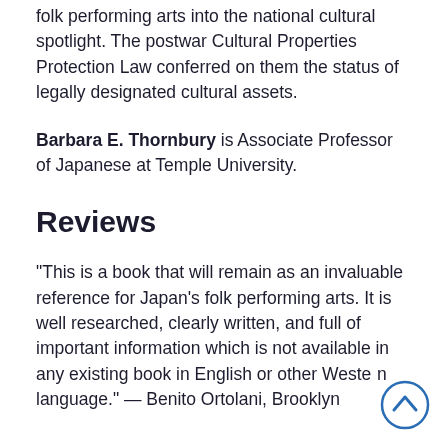folk performing arts into the national cultural spotlight. The postwar Cultural Properties Protection Law conferred on them the status of legally designated cultural assets.
Barbara E. Thornbury is Associate Professor of Japanese at Temple University.
Reviews
"This is a book that will remain as an invaluable reference for Japan's folk performing arts. It is well researched, clearly written, and full of important information which is not available in any existing book in English or other Western language." — Benito Ortolani, Brooklyn